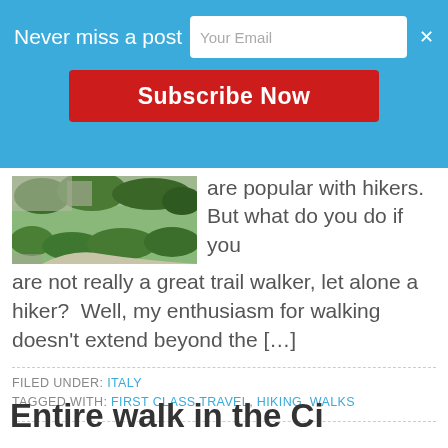Never miss a post
Your Email
Subscribe Now
[Figure (photo): Hiking trail with green vegetation and rocky path]
are popular with hikers.  But what do you do if you are not really a great trail walker, let alone a hiker?  Well, my enthusiasm for walking doesn't extend beyond the […]
FILED UNDER: ITALY
TAGGED WITH: FIRST CLASS TRAVEL, HIKING, WALKS
Entire walk in the Ci…